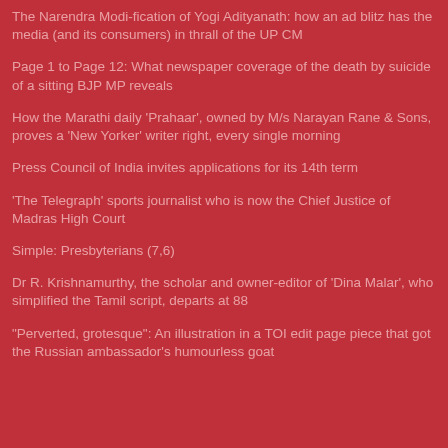The Narendra Modi-fication of Yogi Adityanath: how an ad blitz has the media (and its consumers) in thrall of the UP CM
Page 1 to Page 12: What newspaper coverage of the death by suicide of a sitting BJP MP reveals
How the Marathi daily 'Prahaar', owned by M/s Narayan Rane & Sons, proves a 'New Yorker' writer right, every single morning
Press Council of India invites applications for its 14th term
'The Telegraph' sports journalist who is now the Chief Justice of Madras High Court
Simple: Presbyterians (7,6)
Dr R. Krishnamurthy, the scholar and owner-editor of 'Dina Malar', who simplified the Tamil script, departs at 88
"Perverted, grotesque": An illustration in a TOI edit page piece that got the Russian ambassador's humourless goat